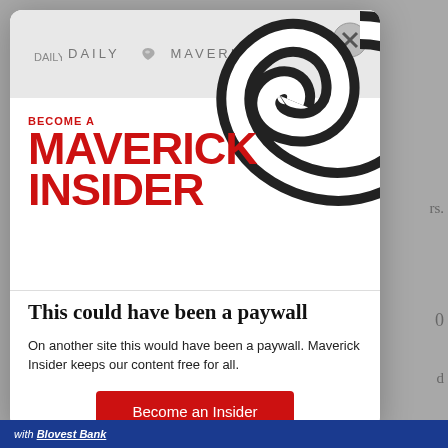[Figure (screenshot): Daily Maverick website background visible behind modal]
[Figure (infographic): Daily Maverick Maverick Insider promotional modal dialog with spiral logo graphic, red BECOME A MAVERICK INSIDER text, paywall message, and Become an Insider button]
This could have been a paywall
On another site this would have been a paywall. Maverick Insider keeps our content free for all.